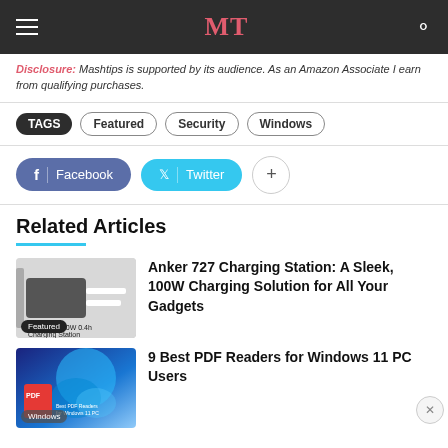MT
Disclosure: Mashtips is supported by its audience. As an Amazon Associate I earn from qualifying purchases.
TAGS  Featured  Security  Windows
Facebook  Twitter  +
Related Articles
[Figure (photo): Anker 727 charging station product photo with cables, labeled Featured]
Anker 727 Charging Station: A Sleek, 100W Charging Solution for All Your Gadgets
[Figure (screenshot): Windows 11 desktop with PDF icon, labeled Windows]
9 Best PDF Readers for Windows 11 PC Users